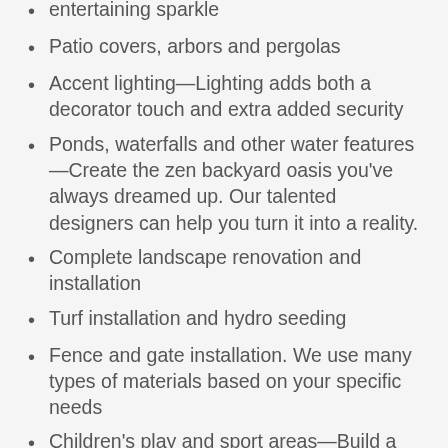entertaining sparkle
Patio covers, arbors and pergolas
Accent lighting—Lighting adds both a decorator touch and extra added security
Ponds, waterfalls and other water features—Create the zen backyard oasis you've always dreamed up. Our talented designers can help you turn it into a reality.
Complete landscape renovation and installation
Turf installation and hydro seeding
Fence and gate installation. We use many types of materials based on your specific needs
Children's play and sport areas—Build a basketball court, play area, or other surfaces for the sports-minded family